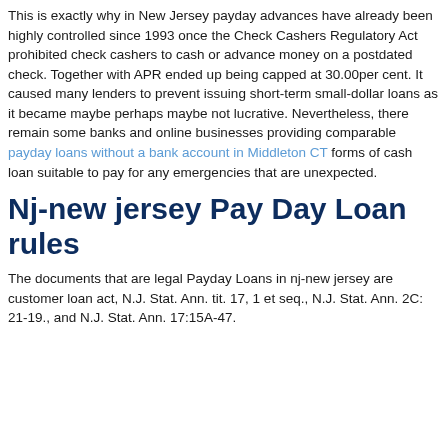This is exactly why in New Jersey payday advances have already been highly controlled since 1993 once the Check Cashers Regulatory Act prohibited check cashers to cash or advance money on a postdated check. Together with APR ended up being capped at 30.00per cent. It caused many lenders to prevent issuing short-term small-dollar loans as it became maybe perhaps maybe not lucrative. Nevertheless, there remain some banks and online businesses providing comparable payday loans without a bank account in Middleton CT forms of cash loan suitable to pay for any emergencies that are unexpected.
Nj-new jersey Pay Day Loan rules
The documents that are legal Payday Loans in nj-new jersey are customer loan act, N.J. Stat. Ann. tit. 17, 1 et seq., N.J. Stat. Ann. 2C: 21-19., and N.J. Stat. Ann. 17:15A-47.